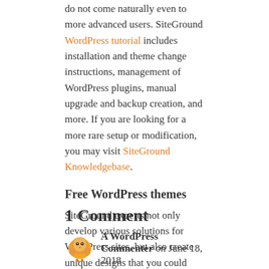do not come naturally even to more advanced users. SiteGround WordPress tutorial includes installation and theme change instructions, management of WordPress plugins, manual upgrade and backup creation, and more. If you are looking for a more rare setup or modification, you may visit SiteGround Knowledgebase.
Free WordPress themes
SiteGround experts not only develop various solutions for WordPress sites, but also create unique designs that you could download for free. SiteGround WordPress themes are easy to customize for the particular use of the webmaster.
1 Comment
A WordPress Commenter on June 18, 2018